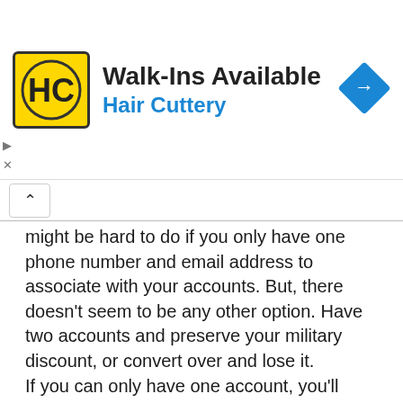[Figure (logo): Hair Cuttery advertisement banner with HC logo, Walk-Ins Available text, Hair Cuttery subtitle in blue, and a blue diamond direction arrow icon]
might be hard to do if you only have one phone number and email address to associate with your accounts. But, there doesn't seem to be any other option. Have two accounts and preserve your military discount, or convert over and lose it.
If you can only have one account, you'll have to determine which type of shopper account benefits you the most.
Other retailers might have similar “this or that” account types and programs.
To Lowe’s credit, they do show their detailed “features list” on the account conversion page. However, it is unclear whether Lowe’s has instructed or trained their cashiers to fully inform shoppers when soliciting MVP Pro signup at checkout.